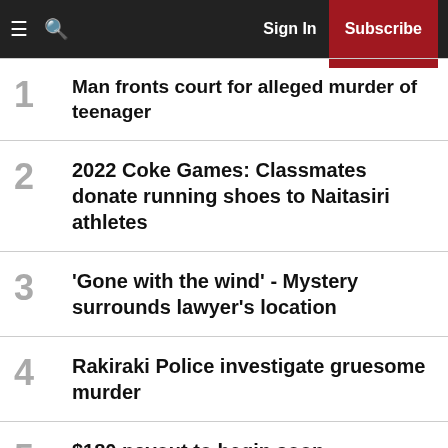Sign In | Subscribe
1. Man fronts court for alleged murder of teenager
2. 2022 Coke Games: Classmates donate running shoes to Naitasiri athletes
3. 'Gone with the wind' - Mystery surrounds lawyer's location
4. Rakiraki Police investigate gruesome murder
5. $180 payout to begin soon
6. Transitioned Olympic champion Green says